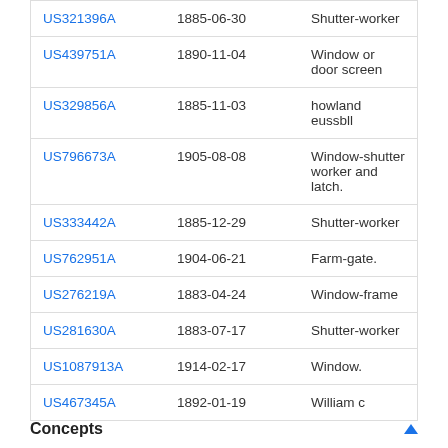| Patent | Date | Title |
| --- | --- | --- |
| US321396A | 1885-06-30 | Shutter-worker |
| US439751A | 1890-11-04 | Window or door screen |
| US329856A | 1885-11-03 | howland eussbll |
| US796673A | 1905-08-08 | Window-shutter worker and latch. |
| US333442A | 1885-12-29 | Shutter-worker |
| US762951A | 1904-06-21 | Farm-gate. |
| US276219A | 1883-04-24 | Window-frame |
| US281630A | 1883-07-17 | Shutter-worker |
| US1087913A | 1914-02-17 | Window. |
| US467345A | 1892-01-19 | William c |
Concepts